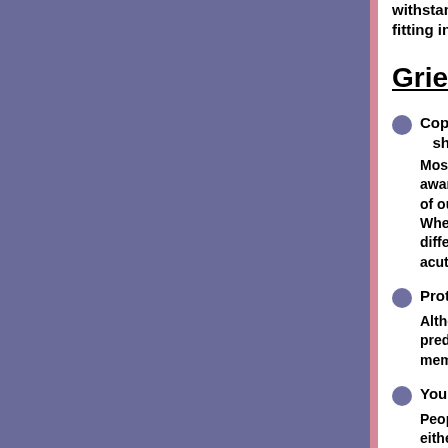withstand pressure, or when energy fitting in socially or fear of failing...
Grief
Coping With Trauma and Avoiding (shootings)
Most of us function by maintaining awareness of possible catastrophe of our psyche - like a computer op. When our security is ripped away b different reality. Suddenly the threa acutely aware that life is fragile...(C
Protecting Teens from the Spread o
Although we don't usually think of predictors of suicide in youth is th member...(Click for full article)
You Should Be So Lucky: Dealing w
People often avoid and isolate thos either literally or emotionally. They enough away to preclude being ab of it all or steer clear of talking abo